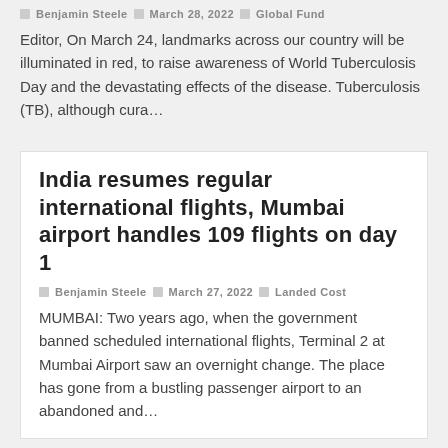Benjamin Steele | March 28, 2022 | Global Fund
Editor, On March 24, landmarks across our country will be illuminated in red, to raise awareness of World Tuberculosis Day and the devastating effects of the disease. Tuberculosis (TB), although cura…
India resumes regular international flights, Mumbai airport handles 109 flights on day 1
Benjamin Steele | March 27, 2022 | Landed Cost
MUMBAI: Two years ago, when the government banned scheduled international flights, Terminal 2 at Mumbai Airport saw an overnight change. The place has gone from a bustling passenger airport to an abandoned and…
[Figure (photo): Night-time photo showing light streaks from traffic or vehicles, with city lights visible, dark background]